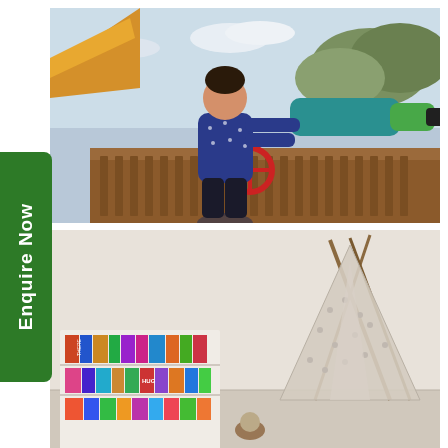[Figure (photo): Child looking through a large teal telescope/periscope on an outdoor wooden play structure]
[Figure (photo): Indoor children's play area with colorful books on a shelf and a fabric teepee tent in the background]
Enquire Now